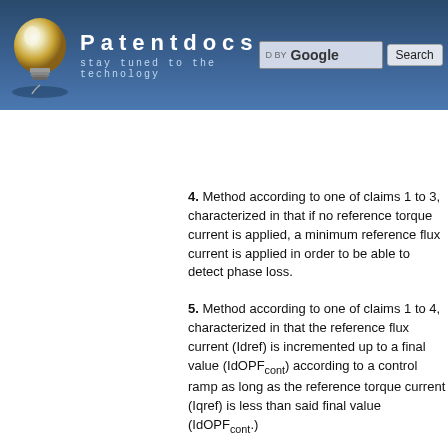Patentdocs — stay tuned to the technology
Inventors list | Assignees list | Classification tree browser
4. Method according to one of claims 1 to 3, characterized in that if no reference torque current is applied, a minimum reference flux current is applied in order to be able to detect phase loss.
5. Method according to one of claims 1 to 4, characterized in that the reference flux current (Idref) is incremented up to a final value (IdOPFcont) according to a control ramp as long as the reference torque current (Iqref) is less than said final value (IdOPFcont).